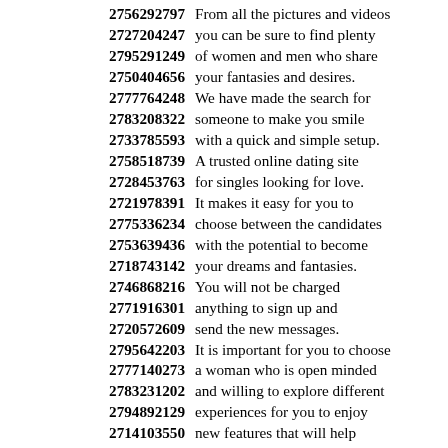2756292797  From all the pictures and videos
2727204247  you can be sure to find plenty
2795291249  of women and men who share
2750404656  your fantasies and desires.
2777764248  We have made the search for
2783208322  someone to make you smile
2733785593  with a quick and simple setup.
2758518739  A trusted online dating site
2728453763  for singles looking for love.
2721978391  It makes it easy for you to
2775336234  choose between the candidates
2753639436  with the potential to become
2718743142  your dreams and fantasies.
2746868216  You will not be charged
2771916301  anything to sign up and
2720572609  send the new messages.
2795642203  It is important for you to choose
2777140273  a woman who is open minded
2783231202  and willing to explore different
2794892129  experiences for you to enjoy
2714103550  new features that will help
2778203588  improve your quality of life.
2785427184  Browse thousands of online
2752484540  photos and images available,
2794761490  send messages and chat with